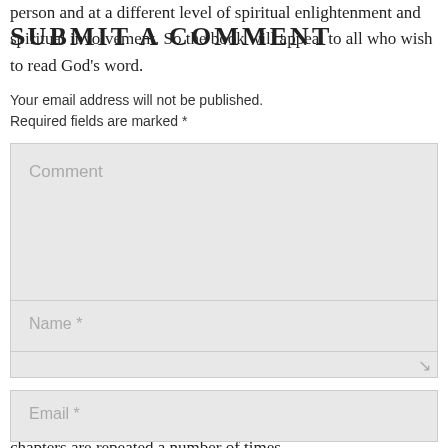person and at a different level of spiritual enlightenment and spiritual involvement. So the book will appeal to all who wish to read God’s word.
Submit a Comment
Your email address will not be published. Required fields are marked *
Comment
This is a fascinating capture of chapters of the
Name *
cover every chapter of the whole Bible. You will
Email *
chapters are repeated a number of times.